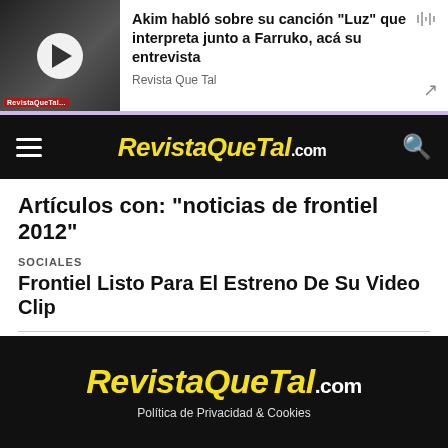[Figure (screenshot): Podcast episode banner showing thumbnail with play button, title 'Akim habló sobre su canción "Luz" que interpreta junto a Farruko, acá su entrevista', source 'Revista Que Tal', with waveform and share icons]
RevistaQueTal.com
Artículos con: "noticias de frontiel 2012"
SOCIALES
Frontiel Listo Para El Estreno De Su Video Clip
[Figure (logo): RevistaQueTal.com logo in yellow italic bold on black background]
Política de Privacidad & Cookies